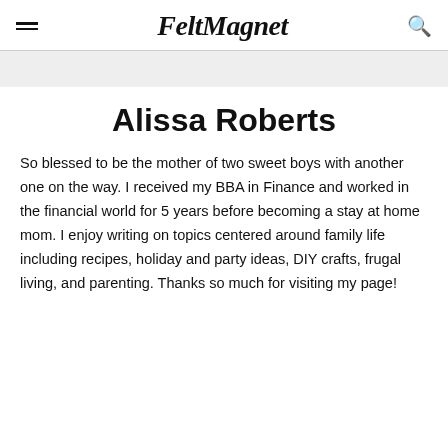FeltMagnet
Alissa Roberts
So blessed to be the mother of two sweet boys with another one on the way. I received my BBA in Finance and worked in the financial world for 5 years before becoming a stay at home mom. I enjoy writing on topics centered around family life including recipes, holiday and party ideas, DIY crafts, frugal living, and parenting. Thanks so much for visiting my page!